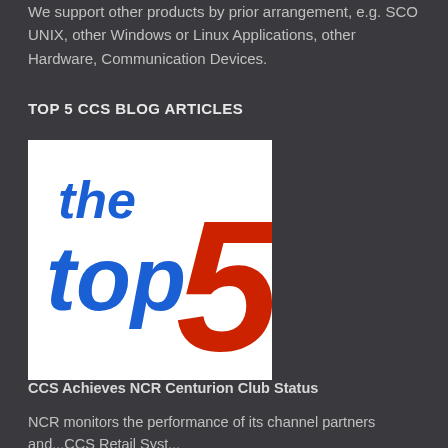We support other products by prior arrangement, e.g. SCO UNIX, other Windows or Linux Applications, other Hardware, Communication Devices.
TOP 5 CCS BLOG ARTICLES
[Figure (logo): The Top 5 logo: bold blue text reading 'the top' with a large red numeral 5, on a white square background.]
CCS Achieves NCR Centurion Club Status
NCR monitors the performance of its channel partners and...CCS Retail Systems has achieved Centurion Club...